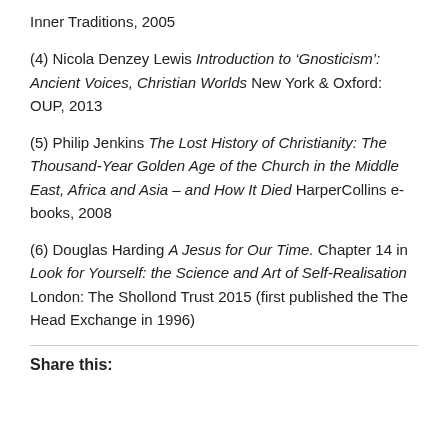Inner Traditions, 2005
(4) Nicola Denzey Lewis Introduction to ‘Gnosticism’: Ancient Voices, Christian Worlds New York & Oxford: OUP, 2013
(5) Philip Jenkins The Lost History of Christianity: The Thousand-Year Golden Age of the Church in the Middle East, Africa and Asia – and How It Died HarperCollins e-books, 2008
(6) Douglas Harding A Jesus for Our Time. Chapter 14 in Look for Yourself: the Science and Art of Self-Realisation London: The Shollond Trust 2015 (first published the The Head Exchange in 1996)
Share this: